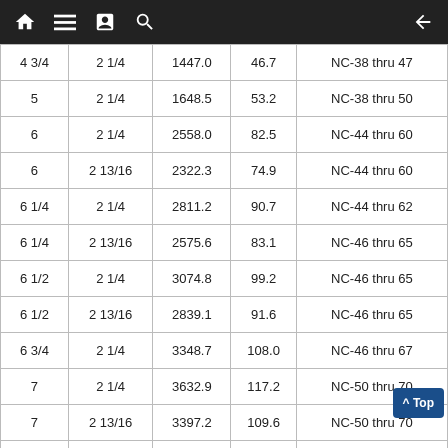| Col1 | Col2 | Col3 | Col4 | Col5 |
| --- | --- | --- | --- | --- |
| 4 3/4 | 2 1/4 | 1447.0 | 46.7 | NC-38 thru 47 |
| 5 | 2 1/4 | 1648.5 | 53.2 | NC-38 thru 50 |
| 6 | 2 1/4 | 2558.0 | 82.5 | NC-44 thru 60 |
| 6 | 2 13/16 | 2322.3 | 74.9 | NC-44 thru 60 |
| 6 1/4 | 2 1/4 | 2811.2 | 90.7 | NC-44 thru 62 |
| 6 1/4 | 2 13/16 | 2575.6 | 83.1 | NC-46 thru 65 |
| 6 1/2 | 2 1/4 | 3074.8 | 99.2 | NC-46 thru 65 |
| 6 1/2 | 2 13/16 | 2839.1 | 91.6 | NC-46 thru 65 |
| 6 3/4 | 2 1/4 | 3348.7 | 108.0 | NC-46 thru 67 |
| 7 | 2 1/4 | 3632.9 | 117.2 | NC-50 thru 70 |
| 7 | 2 13/16 | 3397.2 | 109.6 | NC-50 thru 70 |
| 7 1/4 | 2 13/16 | 3691.8 | 119.1 | NC-50 thru 72 |
| 8 | 2 13/16 | 4637.5 | 149.6 | 6 5/8 Regular |
| 8 1/4 | 2 13/16 | 4973.4 | 160.4 | 6 5/8 Regular |
| 9 1/2* | 3 | 6718.0 | 216.7 | 7 5/8 Regular |
| 9 3/4* | 3 | 7116.0 | 229.5 | 7 5/8 Regular |